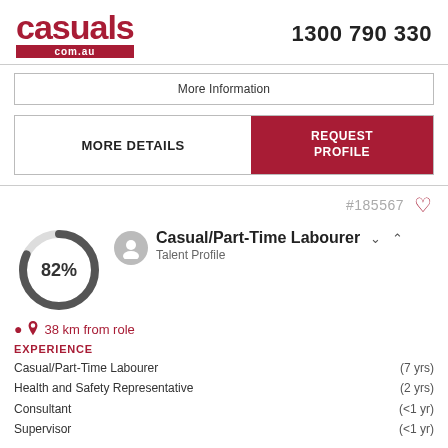[Figure (logo): casuals.com.au logo in dark red with red bar beneath]
1300 790 330
More Information
MORE DETAILS
REQUEST PROFILE
#185567
[Figure (donut-chart): Donut chart showing 82% completion]
Casual/Part-Time Labourer
Talent Profile
38 km from role
EXPERIENCE
Casual/Part-Time Labourer	(7 yrs)
Health and Safety Representative	(2 yrs)
Consultant	(<1 yr)
Supervisor	(<1 yr)